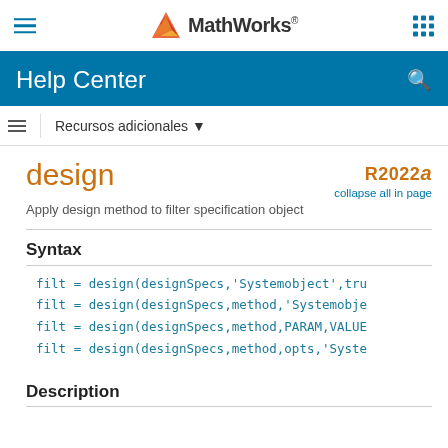MathWorks Help Center
design
Apply design method to filter specification object
R2022a  collapse all in page
Syntax
filt = design(designSpecs,'Systemobject',tru
filt = design(designSpecs,method,'Systemobje
filt = design(designSpecs,method,PARAM,VALUE
filt = design(designSpecs,method,opts,'Syste
Description